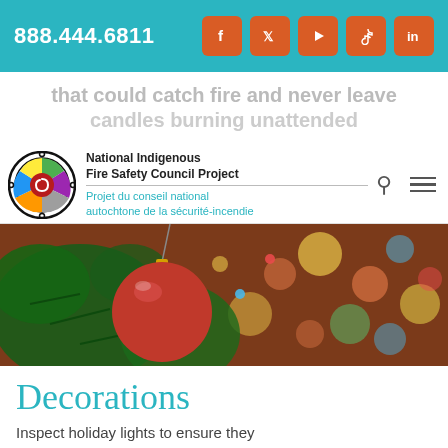888.444.6811
that could catch fire and never leave candles burning unattended
[Figure (logo): National Indigenous Fire Safety Council Project circular logo with colorful segments]
National Indigenous Fire Safety Council Project
Projet du conseil national autochtone de la sécurité-incendie
[Figure (photo): Close-up of a red Christmas ornament hanging on a green Christmas tree with colorful bokeh lights in the background]
Decorations
Inspect holiday lights to ensure they